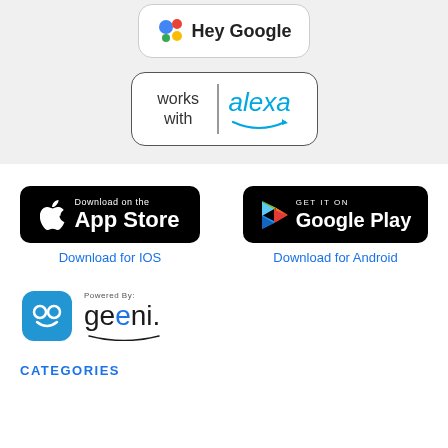[Figure (logo): Hey Google works with badge - white rounded rectangle with Google assistant dots and 'Hey Google' text]
[Figure (logo): Works with Alexa badge - white rounded rectangle with 'works with' text and Alexa logo in blue]
[Figure (logo): Download on the App Store black badge with Apple logo]
Download for IOS
[Figure (logo): Get it on Google Play black badge with Play Store triangle logo]
Download for Android
[Figure (logo): Geeni app icon - blue rounded square with two circle eyes and smile, next to Powered By: geeni. text]
CATEGORIES